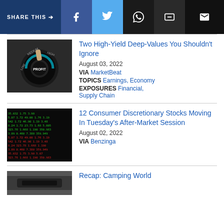SHARE THIS →  [Facebook] [Twitter] [WhatsApp] [Messenger] [Email]
[Figure (photo): Hand turning a profit dial knob with settings from Low to Medium to High, with a glowing blue indicator]
Two High-Yield Deep-Values You Shouldn't Ignore
August 03, 2022
VIA MarketBeat
TOPICS Earnings, Economy
EXPOSURES Financial, Supply Chain
[Figure (photo): Stock market ticker board with green and red numbers on dark background]
12 Consumer Discretionary Stocks Moving In Tuesday's After-Market Session
August 02, 2022
VIA Benzinga
[Figure (photo): Partial photo, appears to be a vehicle interior or automotive subject]
Recap: Camping World